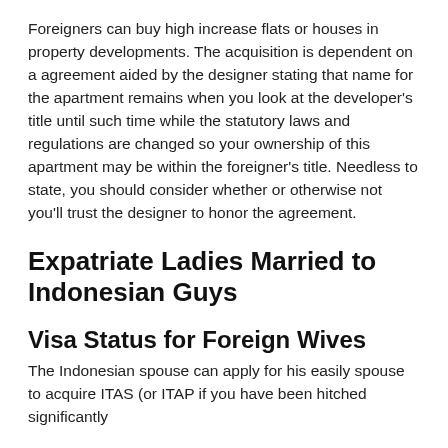Foreigners can buy high increase flats or houses in property developments. The acquisition is dependent on a agreement aided by the designer stating that name for the apartment remains when you look at the developer's title until such time while the statutory laws and regulations are changed so your ownership of this apartment may be within the foreigner's title. Needless to state, you should consider whether or otherwise not you'll trust the designer to honor the agreement.
Expatriate Ladies Married to Indonesian Guys
Visa Status for Foreign Wives
The Indonesian spouse can apply for his easily spouse to acquire ITAS (or ITAP if you have been hitched significantly